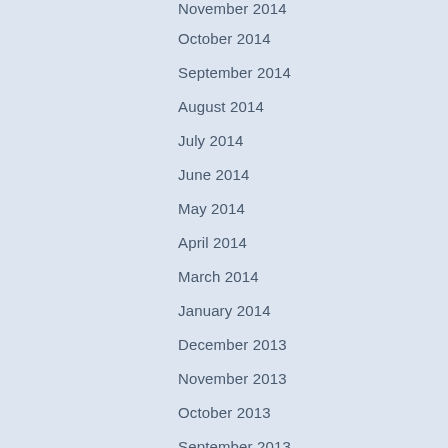November 2014
October 2014
September 2014
August 2014
July 2014
June 2014
May 2014
April 2014
March 2014
January 2014
December 2013
November 2013
October 2013
September 2013
August 2013